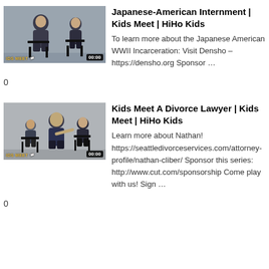[Figure (screenshot): Video thumbnail showing an elderly man and a young child sitting on chairs, with 'KIDS MEET' label and '00:00' timestamp overlay]
Japanese-American Internment | Kids Meet | HiHo Kids
To learn more about the Japanese American WWII Incarceration: Visit Densho – https://densho.org Sponsor ...
0
[Figure (screenshot): Video thumbnail showing a bald man and two children sitting on chairs, with 'KIDS MEET' label and '00:00' timestamp overlay]
Kids Meet A Divorce Lawyer | Kids Meet | HiHo Kids
Learn more about Nathan! https://seattledivorceservices.com/attorney-profile/nathan-cliber/ Sponsor this series: http://www.cut.com/sponsorship Come play with us! Sign ...
0